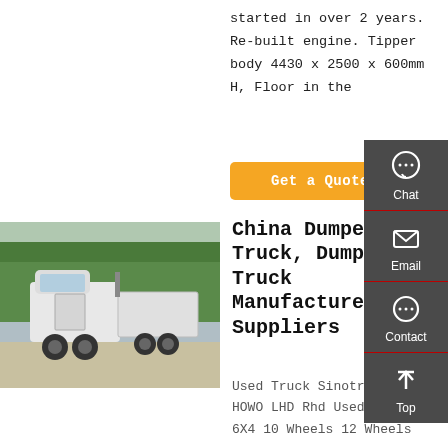started in over 2 years. Re-built engine. Tipper body 4430 x 2500 x 600mm H, Floor in the
Get a Quote
[Figure (photo): White Sinotruck HOWO tractor unit parked outdoors with trees in background]
China Dumper Truck, Dumper Truck Manufacturers, Suppliers
Used Truck Sinotruck HOWO LHD Rhd Used 8X4 6X4 10 Wheels 12 Wheels
[Figure (infographic): Right sidebar with Chat, Email, Contact, and Top navigation icons on dark grey background]